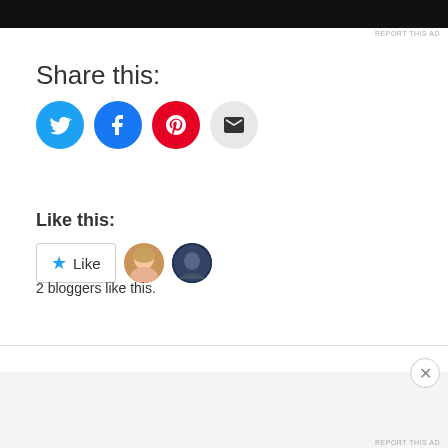[Figure (screenshot): Black advertisement bar at top of page]
REPORT THIS AD
Share this:
[Figure (infographic): Social share buttons: Twitter (blue), Facebook (dark blue), Pinterest (red), Email (gray)]
Like this:
[Figure (screenshot): Like button with star icon and two blogger avatar photos]
2 bloggers like this.
Advertisements
[Figure (screenshot): WordPress advertisement banner: 'Create immersive stories. GET THE APP' with WordPress logo, gradient teal-green-yellow background]